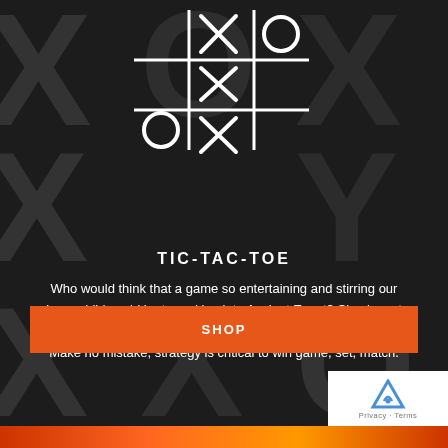[Figure (illustration): Tic-tac-toe game board with X and O symbols shown in white lines on dark background, with large decorative X and O letters in the background]
TIC-TAC-TOE
Who would think that a game so entertaining and stirring our inner child could be traced back to Ancient Egypt? Simple, yet elegant. Our take on this classic will have you playing for hours. Make no mistake, strategy is critical to win game, set, match.
SHOP
[Figure (logo): reCAPTCHA badge with stylized arrow logo, Privacy and Terms text]